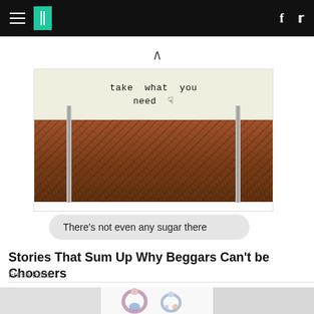HuffPost navigation bar with hamburger menu, logo, Facebook and Twitter icons
[Figure (photo): Photo of a sign on metal poles reading 'take what you need' with a hand-drawn arrow, mounted above reddish-brown wood chip mulch ground]
There's not even any sugar there
Stories That Sum Up Why Beggars Can't be Choosers
Fresh Edits
[Figure (photo): Partial bottom image strip showing jewelry earrings in center with gray panels on sides]